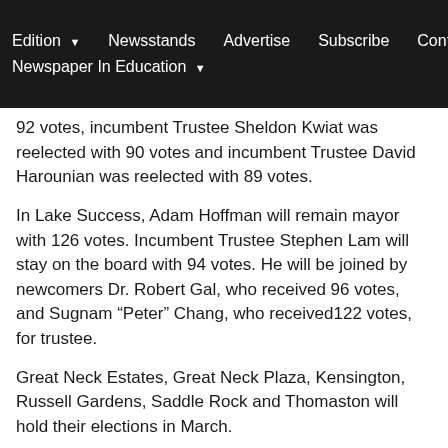Edition ▾  Newsstands  Advertise  Subscribe  Contact Us  Newspaper In Education ▾
92 votes, incumbent Trustee Sheldon Kwiat was reelected with 90 votes and incumbent Trustee David Harounian was reelected with 89 votes.
In Lake Success, Adam Hoffman will remain mayor with 126 votes. Incumbent Trustee Stephen Lam will stay on the board with 94 votes. He will be joined by newcomers Dr. Robert Gal, who received 96 votes, and Sugnam “Peter” Chang, who received122 votes, for trustee.
Great Neck Estates, Great Neck Plaza, Kensington, Russell Gardens, Saddle Rock and Thomaston will hold their elections in March.
Find out more about the candidates here.